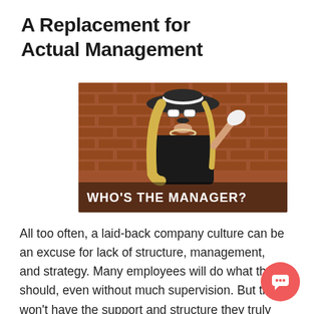A Replacement for Actual Management
[Figure (photo): A person wearing a large black-and-white hat, blonde wig, sunglasses, pearl necklace, and black t-shirt, standing in front of a brick wall, holding up a white object. Text overlay reads 'WHO'S THE MANAGER?']
All too often, a laid-back company culture can be an excuse for lack of structure, management, and strategy. Many employees will do what they should, even without much supervision. But they won't have the support and structure they truly need to be their best.